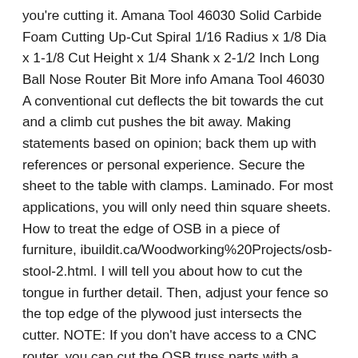you're cutting it. Amana Tool 46030 Solid Carbide Foam Cutting Up-Cut Spiral 1/16 Radius x 1/8 Dia x 1-1/8 Cut Height x 1/4 Shank x 2-1/2 Inch Long Ball Nose Router Bit More info Amana Tool 46030 A conventional cut deflects the bit towards the cut and a climb cut pushes the bit away. Making statements based on opinion; back them up with references or personal experience. Secure the sheet to the table with clamps. Laminado. For most applications, you will only need thin square sheets. How to treat the edge of OSB in a piece of furniture, ibuildit.ca/Woodworking%20Projects/osb-stool-2.html. I will tell you about how to cut the tongue in further detail. Then, adjust your fence so the top edge of the plywood just intersects the cutter. NOTE: If you don't have access to a CNC router, you can cut the OSB truss parts with a circular saw or even a handsaw. So I'd start there by suggesting that the first step in getting the cleanest edges as possible is to use a router to cut the pieces out. Yeesh. How to connect furniture without cam locks? Due to the bit sticky nature of